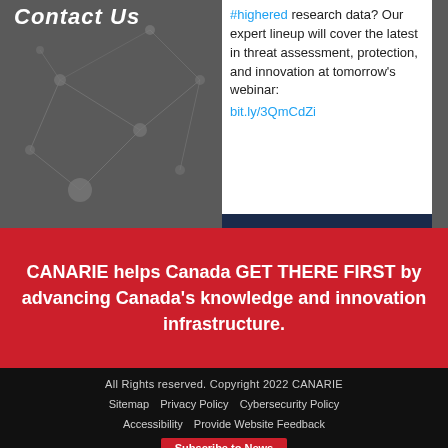Contact Us
#highered research data? Our expert lineup will cover the latest in threat assessment, protection, and innovation at tomorrow's webinar: bit.ly/3QmCdZi
CANARIE helps Canada GET THERE FIRST by advancing Canada's knowledge and innovation infrastructure.
All Rights reserved. Copyright 2022 CANARIE
Sitemap
Privacy Policy
Cybersecurity Policy
Accessibility
Provide Website Feedback
Subscribe to News